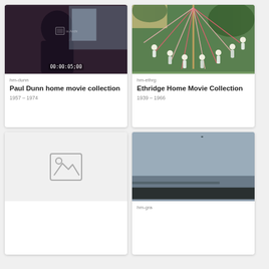[Figure (screenshot): Card: Paul Dunn home movie collection. Dark video thumbnail with timestamp 00:00:05:00 and watermark. ID: hm-dunn. Dates: 1957–1974.]
[Figure (screenshot): Card: Ethridge Home Movie Collection. Colorful maypole dancing scene. ID: hm-ethrg. Dates: 1939–1966.]
[Figure (screenshot): Card with placeholder image icon (no thumbnail available).]
[Figure (screenshot): Card: hm-gra. Grey seascape/coastal scene thumbnail.]